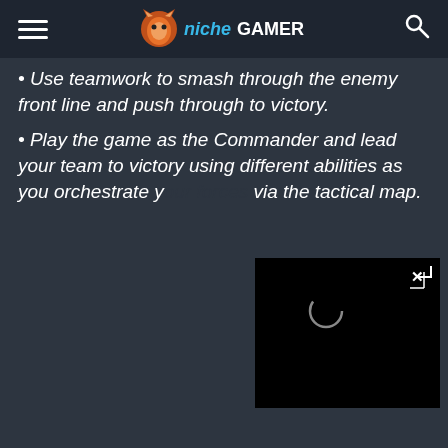Niche Gamer
Use teamwork to smash through the enemy front line and push through to victory.
Play the game as the Commander and lead your team to victory using different abilities as you orchestrate your forces via the tactical map.
[Figure (screenshot): Video player overlay in bottom right with black background, close button (x) in top right corner, and a loading spinner circle in the center]